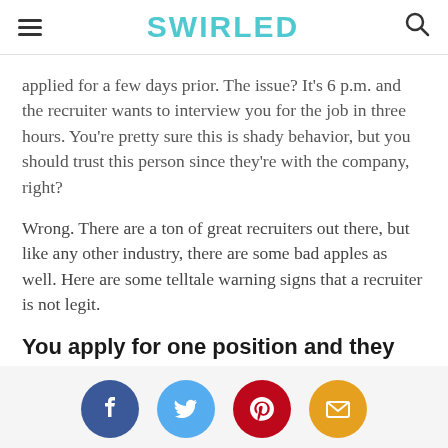SWIRLED
applied for a few days prior. The issue? It's 6 p.m. and the recruiter wants to interview you for the job in three hours. You're pretty sure this is shady behavior, but you should trust this person since they're with the company, right?
Wrong. There are a ton of great recruiters out there, but like any other industry, there are some bad apples as well. Here are some telltale warning signs that a recruiter is not legit.
You apply for one position and they interview you for a different, lower-
[Figure (infographic): Social sharing buttons: Facebook (dark blue circle with f), Twitter (light blue circle with bird), Pinterest (dark red circle with P), Email (orange circle with envelope icon)]